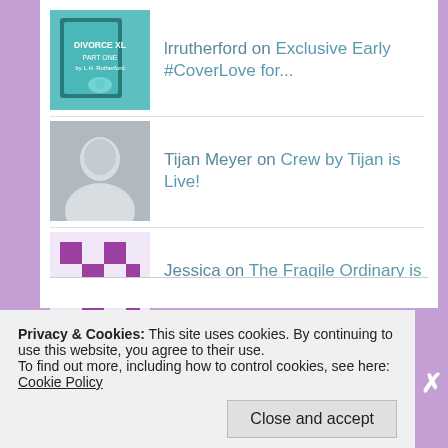lrrutherford on Exclusive Early #CoverLove for...
Tijan Meyer on Crew by Tijan is Live!
Jessica on The Fragile Ordinary is a spec...
Megan @ Ginger Mom on #OnTour with Hammered by Jasin...
Megan @ Ginger Mom on The Downside of Love by Meghan...
Privacy & Cookies: This site uses cookies. By continuing to use this website, you agree to their use.
To find out more, including how to control cookies, see here: Cookie Policy
Close and accept